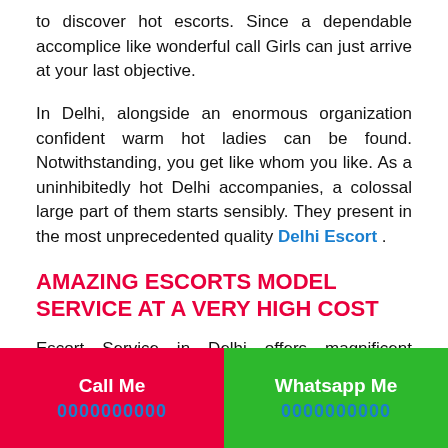to discover hot escorts. Since a dependable accomplice like wonderful call Girls can just arrive at your last objective.
In Delhi, alongside an enormous organization confident warm hot ladies can be found. Notwithstanding, you get like whom you like. As a uninhibitedly hot Delhi accompanies, a colossal large part of them starts sensibly. They present in the most unprecedented quality Delhi Escort .
AMAZING ESCORTS MODEL SERVICE AT A VERY HIGH COST
Escort Service in Delhi offers magnificent assistance easily. This is one-stop objective where men can find the incredible escorts of versions, which are
Call Me 0000000000 | Whatsapp Me 0000000000